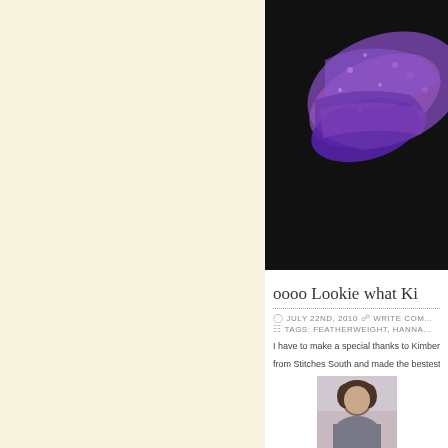[Figure (photo): Sidebar area with cream/pale yellow background]
[Figure (photo): Photo of a purple/blue knitted sock on a dark background]
oooo Lookie what Ki
JULY 22ND, 2010   WRITE COM...
TAGS: FEATHERWEIGHT, HANNA...
I have to make a special thanks to Kimber... from Stitches South and made the bestest...
[Figure (photo): Photo of a person with brown hair]